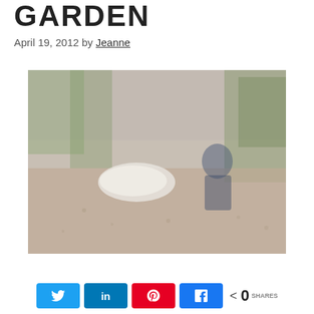GARDEN
April 19, 2012 by Jeanne
[Figure (photo): A faded outdoor garden photo showing white flowers or produce on soil, with a person crouching in the background, surrounded by green plants.]
< 0 SHARES [Twitter share button] [LinkedIn share button] [Pinterest share button] [Facebook share button]